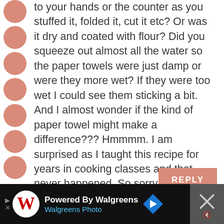to your hands or the counter as you stuffed it, folded it, cut it etc? Or was it dry and coated with flour? Did you squeeze out almost all the water so the paper towels were just damp or were they more wet? If they were too wet I could see them sticking a bit. And I almost wonder if the kind of paper towel might make a difference??? Hmmmm. I am surprised as I taught this recipe for years in cooking classes and that never happened. So sorry it happened to you. Hopefully we can figure it out.
REPLY
[Figure (other): Advertisement banner at the bottom of the page: black background with Walgreens logo (stylized W in red), text 'Powered By Walgreens' in white and 'Walgreens Photo' in blue, a blue navigation arrow icon, and a close/mute button area on the right with an X and speaker icon.]